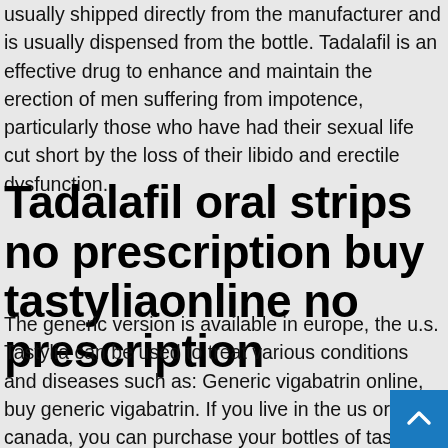usually shipped directly from the manufacturer and is usually dispensed from the bottle. Tadalafil is an effective drug to enhance and maintain the erection of men suffering from impotence, particularly those who have had their sexual life cut short by the loss of their libido and erectile dysfunction.
Tadalafil oral strips no prescription buy tastyliaonline no prescription
The generic version is available in europe, the u.s. Tastylia can be used to treat various conditions and diseases such as: Generic vigabatrin online, buy generic vigabatrin. If you live in the us or canada, you can purchase your bottles of tasty